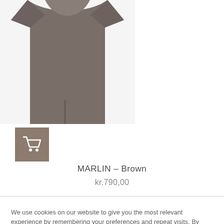[Figure (photo): A brown/taupe oversized short-sleeve top or shirt, shown from the front, cropped view showing the upper body portion of the garment.]
[Figure (other): Shopping cart button icon on a brownish-grey square background.]
MARLIN – Brown
kr.790,00
We use cookies on our website to give you the most relevant experience by remembering your preferences and repeat visits. By clicking "Accept All", you consent to the use of ALL the cookies. However, you may visit "Cookie Settings" to provide a controlled consent.
Cookie Settings
Accept All